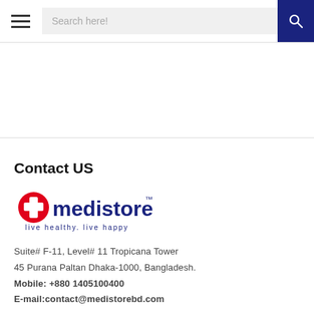Search here!
Contact US
[Figure (logo): Medistore logo with tagline 'live healthy. live happy']
Suite# F-11, Level# 11 Tropicana Tower
45 Purana Paltan Dhaka-1000, Bangladesh.
Mobile: +880 1405100400
E-mail:contact@medistorebd.com